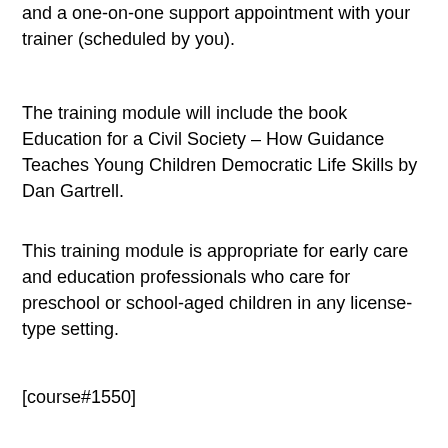and a one-on-one support appointment with your trainer (scheduled by you).
The training module will include the book Education for a Civil Society – How Guidance Teaches Young Children Democratic Life Skills by Dan Gartrell.
This training module is appropriate for early care and education professionals who care for preschool or school-aged children in any license-type setting.
[course#1550]